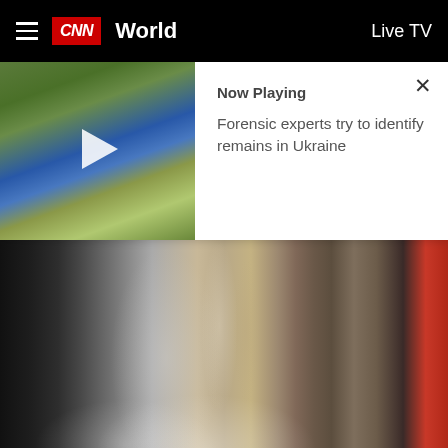CNN World | Live TV
[Figure (screenshot): Video thumbnail showing outdoor scene with flags and flowers, with play button overlay. Now Playing panel beside it: 'Now Playing — Forensic experts try to identify remains in Ukraine'. Close (X) button visible.]
[Figure (photo): Photo of conference table with water bottles, microphones, papers and other items. This is from the International Conference On Global Food Security.]
Antony Blinken during the International Conference On Global Food Security on June 24 in Berlin, Germany. (Mika Savolainen/Pool/Getty Images)
US Secretary of State Antony Blinken said it doesn't make sense for Russia to demand that it be able to inspect every Ukrainian ship leaving Ukrainian ports